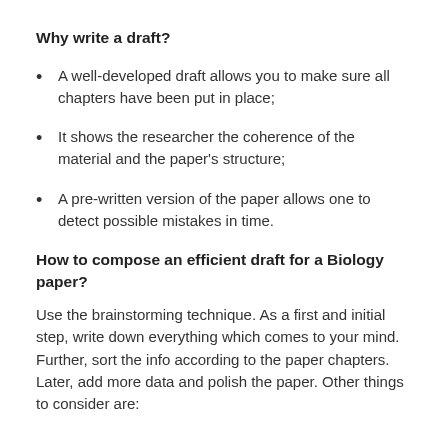Why write a draft?
A well-developed draft allows you to make sure all chapters have been put in place;
It shows the researcher the coherence of the material and the paper’s structure;
A pre-written version of the paper allows one to detect possible mistakes in time.
How to compose an efficient draft for a Biology paper?
Use the brainstorming technique. As a first and initial step, write down everything which comes to your mind. Further, sort the info according to the paper chapters. Later, add more data and polish the paper. Other things to consider are: